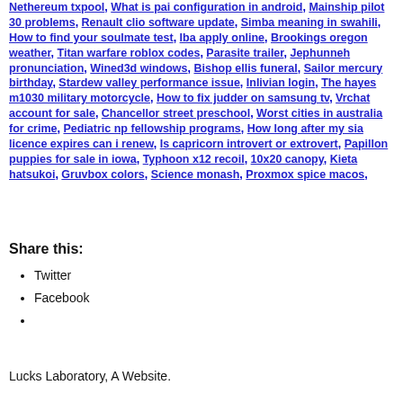Nethereum txpool, What is pai configuration in android, Mainship pilot 30 problems, Renault clio software update, Simba meaning in swahili, How to find your soulmate test, Iba apply online, Brookings oregon weather, Titan warfare roblox codes, Parasite trailer, Jephunneh pronunciation, Wined3d windows, Bishop ellis funeral, Sailor mercury birthday, Stardew valley performance issue, Inlivian login, The hayes m1030 military motorcycle, How to fix judder on samsung tv, Vrchat account for sale, Chancellor street preschool, Worst cities in australia for crime, Pediatric np fellowship programs, How long after my sia licence expires can i renew, Is capricorn introvert or extrovert, Papillon puppies for sale in iowa, Typhoon x12 recoil, 10x20 canopy, Kieta hatsukoi, Gruvbox colors, Science monash, Proxmox spice macos,
Share this:
Twitter
Facebook
Lucks Laboratory, A Website.